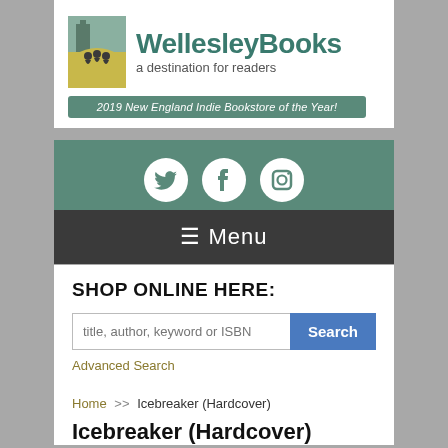[Figure (logo): WellesleyBooks logo with icon of people and text 'WellesleyBooks a destination for readers' and award banner '2019 New England Indie Bookstore of the Year!']
[Figure (infographic): Social media icons bar: Twitter, Facebook, Instagram on teal background]
☰ Menu
SHOP ONLINE HERE:
title, author, keyword or ISBN
Advanced Search
Home >> Icebreaker (Hardcover)
Icebreaker (Hardcover)